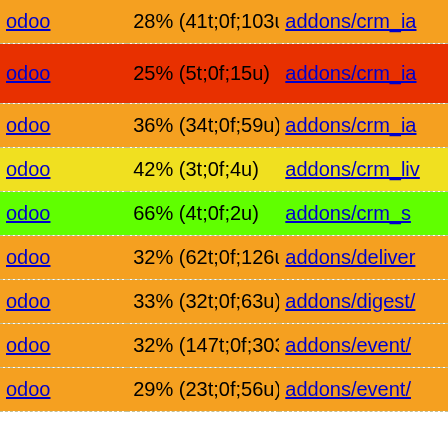|  |  |  |
| --- | --- | --- |
| odoo | 28% (41t;0f;103u) | addons/crm_ia |
| odoo | 25% (5t;0f;15u) | addons/crm_ia |
| odoo | 36% (34t;0f;59u) | addons/crm_ia |
| odoo | 42% (3t;0f;4u) | addons/crm_liv |
| odoo | 66% (4t;0f;2u) | addons/crm_s |
| odoo | 32% (62t;0f;126u) | addons/deliver |
| odoo | 33% (32t;0f;63u) | addons/digest/ |
| odoo | 32% (147t;0f;303u) | addons/event/ |
| odoo | 29% (23t;0f;56u) | addons/event/ |